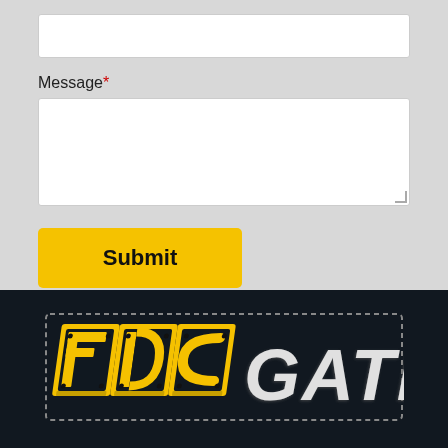Message*
[Figure (screenshot): Web form with a text input field at top, a labeled 'Message*' textarea below, and a yellow 'Submit' button.]
[Figure (logo): FDC GATES logo on dark background inside a dashed border rectangle. 'FDC' in yellow bold italic letters, 'GATES' in white/silver bold italic letters.]